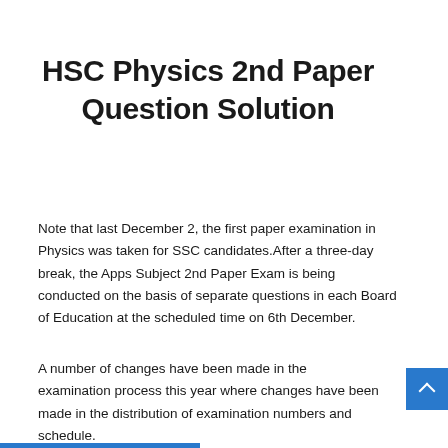HSC Physics 2nd Paper Question Solution
Note that last December 2, the first paper examination in Physics was taken for SSC candidates.After a three-day break, the Apps Subject 2nd Paper Exam is being conducted on the basis of separate questions in each Board of Education at the scheduled time on 6th December.
A number of changes have been made in the examination process this year where changes have been made in the distribution of examination numbers and schedule.